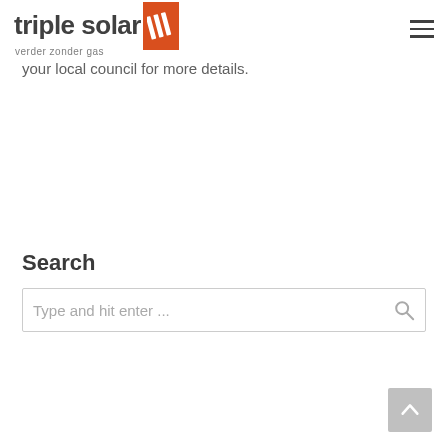triple solar /// verder zonder gas
your local council for more details.
Search
Type and hit enter ...